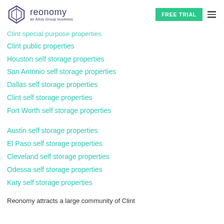reonomy — an Altus Group business | FREE TRIAL
Clint special purpose properties
Clint public properties
Houston self storage properties
San Antonio self storage properties
Dallas self storage properties
Clint self storage properties
Fort Worth self storage properties
Austin self storage properties
El Paso self storage properties
Cleveland self storage properties
Odessa self storage properties
Katy self storage properties
Reonomy attracts a large community of Clint